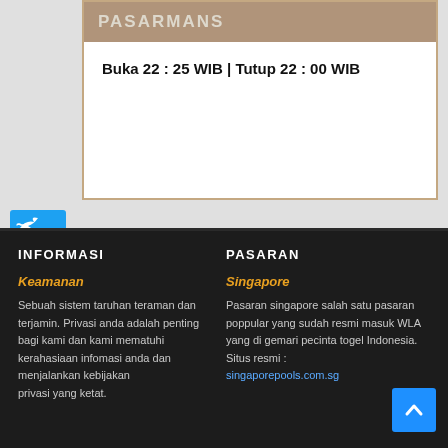Buka 22 : 25 WIB | Tutup 22 : 00 WIB
[Figure (infographic): Facebook share button with 'f' icon and SHARE label below it]
[Figure (infographic): Twitter share button partially visible]
INFORMASI
PASARAN
Keamanan
Singapore
Sebuah sistem taruhan teraman dan terjamin. Privasi anda adalah penting bagi kami dan kami mematuhi kerahasiaan infomasi anda dan menjalankan kebijakan privasi yang ketat.
Pasaran singapore salah satu pasaran poppular yang sudah resmi masuk WLA yang di gemari pecinta togel Indonesia. Situs resmi : singaporepools.com.sg